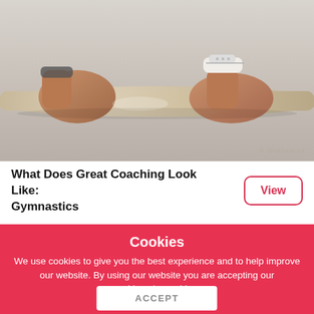[Figure (photo): Close-up photo of gymnast hands gripping a horizontal bar, wearing gymnastics grips/wrist bands, with chalk visible. Shutterstock watermark in bottom right.]
What Does Great Coaching Look Like: Gymnastics
View
Cookies
We use cookies to give you the best experience and to help improve our website. By using our website you are accepting our cookies. Learn More
ACCEPT